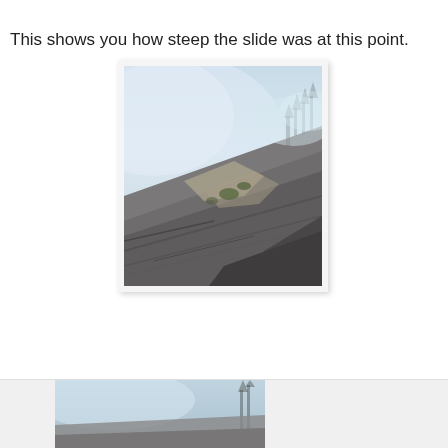This shows you how steep the slide was at this point.
[Figure (photo): Steep rocky mountain slide with fog and sparse trees visible in the upper right; rocky slabs fill the lower portion of the image, taken at an angle showing the steep incline.]
[Figure (photo): Partial view of another mountain or landscape photo, partially cropped at the bottom of the page.]